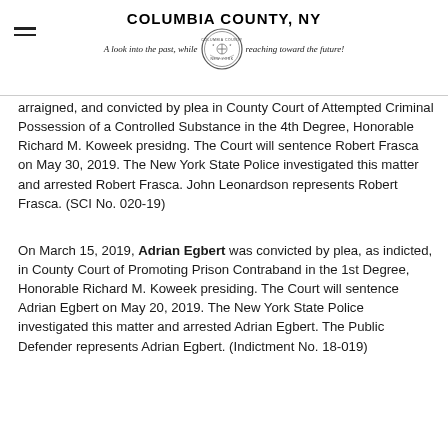COLUMBIA COUNTY, NY — A look into the past, while reaching toward the future!
arraigned, and convicted by plea in County Court of Attempted Criminal Possession of a Controlled Substance in the 4th Degree, Honorable Richard M. Koweek presidng. The Court will sentence Robert Frasca on May 30, 2019. The New York State Police investigated this matter and arrested Robert Frasca. John Leonardson represents Robert Frasca. (SCI No. 020-19)
On March 15, 2019, Adrian Egbert was convicted by plea, as indicted, in County Court of Promoting Prison Contraband in the 1st Degree, Honorable Richard M. Koweek presiding. The Court will sentence Adrian Egbert on May 20, 2019. The New York State Police investigated this matter and arrested Adrian Egbert. The Public Defender represents Adrian Egbert. (Indictment No. 18-019)